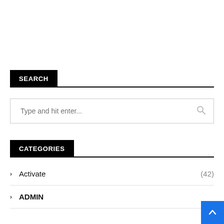SEARCH
Type and hit enter...
CATEGORIES
Activate (42)
ADMIN